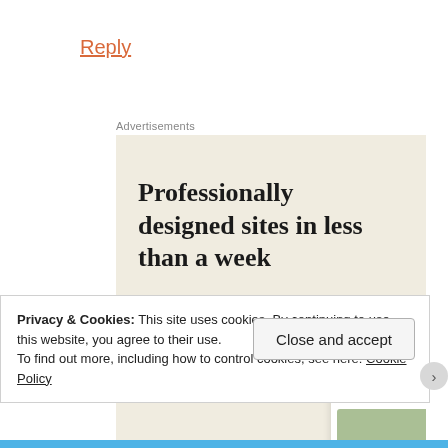Reply
Advertisements
[Figure (screenshot): Advertisement banner with cream/beige background showing headline 'Professionally designed sites in less than a week', a green 'Explore options' button, and mock website screenshots on the right side.]
Privacy & Cookies: This site uses cookies. By continuing to use this website, you agree to their use.
To find out more, including how to control cookies, see here: Cookie Policy
Close and accept